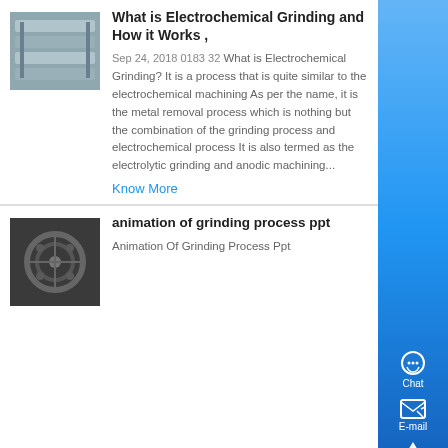[Figure (photo): Industrial machinery photo, possibly a grinding or manufacturing machine, gray metallic equipment.]
What is Electrochemical Grinding and How it Works ,
Sep 24, 2018 0183 32 What is Electrochemical Grinding? It is a process that is quite similar to the electrochemical machining As per the name, it is the metal removal process which is nothing but the combination of the grinding process and electrochemical process It is also termed as the electrolytic grinding and anodic machining...
Know More
[Figure (photo): Close-up photo of grinding gears or mechanical components, dark industrial machinery.]
animation of grinding process ppt
Animation Of Grinding Process Ppt